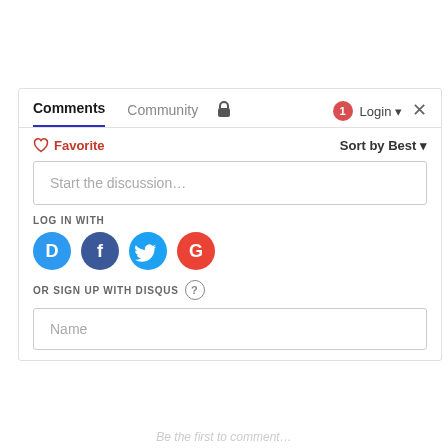[Figure (screenshot): Disqus comments widget UI showing tabs: Comments (active, underlined in blue), Community, lock icon, notification badge (1), Login button with dropdown arrow, and X close button. Below is a toolbar with Favorite (heart icon) and Sort by Best dropdown. Then a 'Start the discussion...' text input box. LOG IN WITH label followed by social login icons: Disqus (D), Facebook (f), Twitter bird, Google (G). OR SIGN UP WITH DISQUS label with help circle icon. Then a Name input field. Page ends with faded text at the bottom.]